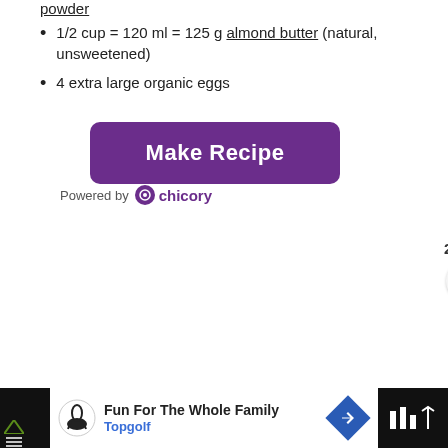powder
1/2 cup = 120 ml = 125 g almond butter (natural, unsweetened)
4 extra large organic eggs
[Figure (other): Purple 'Make Recipe' button]
Powered by chicory
[Figure (other): Heart favorite button with count 27 and share button]
[Figure (other): Advertisement banner: Fun For The Whole Family - Topgolf]